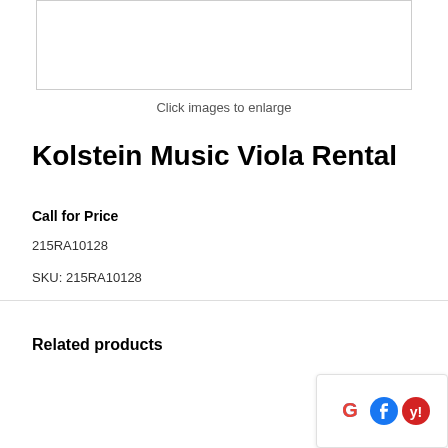[Figure (photo): Product image placeholder box with border]
Click images to enlarge
Kolstein Music Viola Rental
Call for Price
215RA10128
SKU: 215RA10128
Related products
[Figure (logo): Social media icons: Google, Facebook, Yelp]